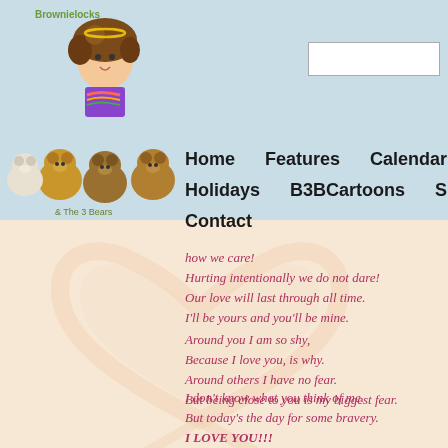[Figure (illustration): Brownielocks and the 3 Bears cartoon logo - girl with curly hair and bears]
Home   Features   Calendar   Holidays   B3BCartoons   Shop   Contact
how we care!
Hurting intentionally we do not dare!
Our love will last through all time.
I'll be yours and you'll be mine.
Around you I am so shy,
Because I love you, is why.
Around others I have no fear.
But being close to you is my biggest fear.
I don't know what you think of me.
But today's the day for some bravery.
I LOVE YOU!!!